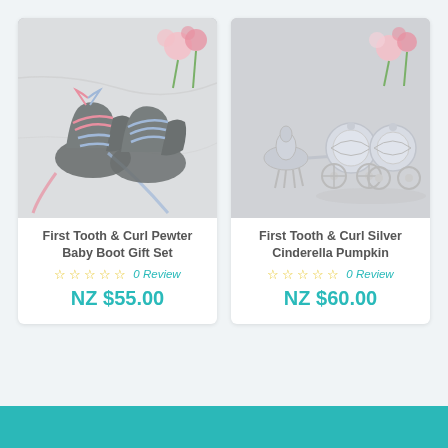[Figure (photo): Photo of pewter baby boot shoes with pink and blue laces on a marble surface with flowers]
First Tooth & Curl Pewter Baby Boot Gift Set
☆ ☆ ☆ ☆ ☆ 0 Review
NZ $55.00
[Figure (photo): Photo of silver Cinderella pumpkin carriage salt and pepper shakers with flowers in background]
First Tooth & Curl Silver Cinderella Pumpkin
☆ ☆ ☆ ☆ ☆ 0 Review
NZ $60.00